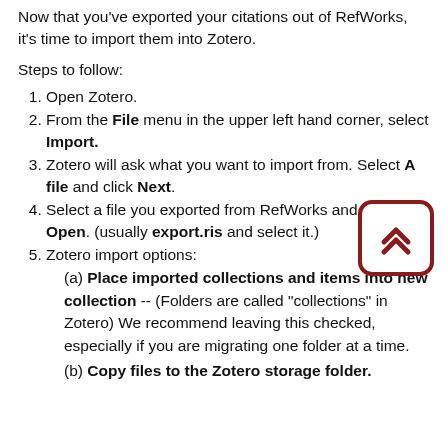Now that you've exported your citations out of RefWorks, it's time to import them into Zotero.
Steps to follow:
Open Zotero.
From the File menu in the upper left hand corner, select Import.
Zotero will ask what you want to import from. Select A file and click Next.
Select a file you exported from RefWorks and click Open. (usually export.ris and select it.)
Zotero import options: (a) Place imported collections and items into new collection -- (Folders are called "collections" in Zotero) We recommend leaving this checked, especially if you are migrating one folder at a time. (b) Copy files to the Zotero storage folder.
[Figure (other): Scroll-to-top button icon with double upward chevron arrows, dark red border with rounded corners]